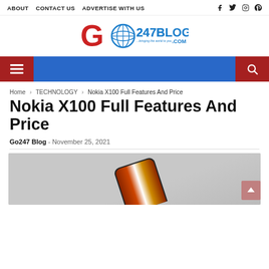ABOUT   CONTACT US   ADVERTISE WITH US
[Figure (logo): Go247Blog.com logo with red G and globe icon]
[Figure (infographic): Blue navigation bar with red hamburger menu on left and red search icon on right]
Home > TECHNOLOGY > Nokia X100 Full Features And Price
Nokia X100 Full Features And Price
Go247 Blog - November 25, 2021
[Figure (photo): Nokia X100 phone with colorful back cover on grey background, partially visible at bottom of page]